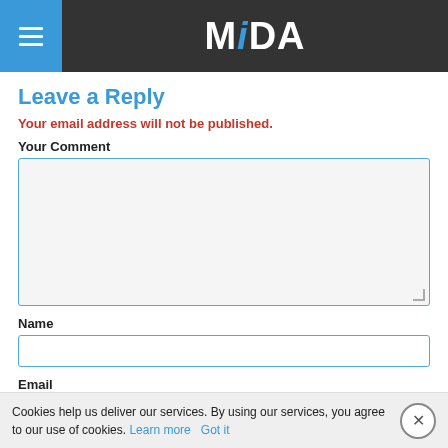MiDA
Leave a Reply
Your email address will not be published.
Your Comment
Name
Email
Cookies help us deliver our services. By using our services, you agree to our use of cookies. Learn more Got it